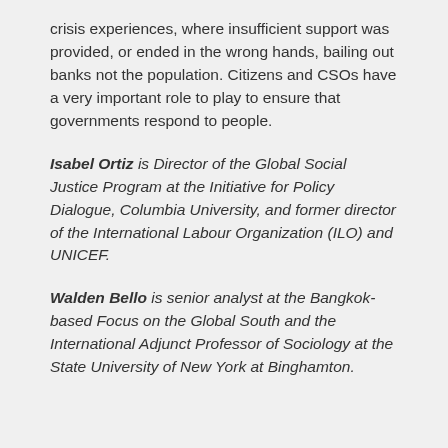crisis experiences, where insufficient support was provided, or ended in the wrong hands, bailing out banks not the population. Citizens and CSOs have a very important role to play to ensure that governments respond to people.
Isabel Ortiz is Director of the Global Social Justice Program at the Initiative for Policy Dialogue, Columbia University, and former director of the International Labour Organization (ILO) and UNICEF.
Walden Bello is senior analyst at the Bangkok-based Focus on the Global South and the International Adjunct Professor of Sociology at the State University of New York at Binghamton.